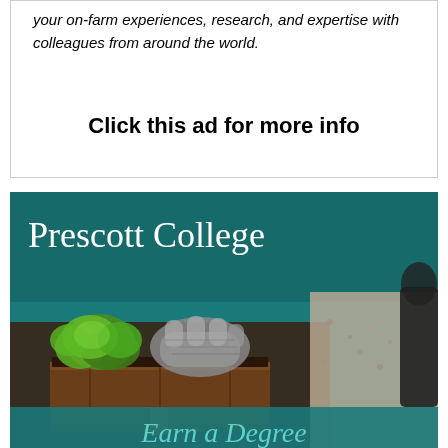your on-farm experiences, research, and expertise with colleagues from around the world.
Click this ad for more info
[Figure (photo): Advertisement for Prescott College showing a person with gardening gloves tending to lettuce seedlings in a wooden planter box. Teal/dark teal background with white serif text reading 'Prescott College' and teal cursive text at bottom reading 'Earn a Degree'.]